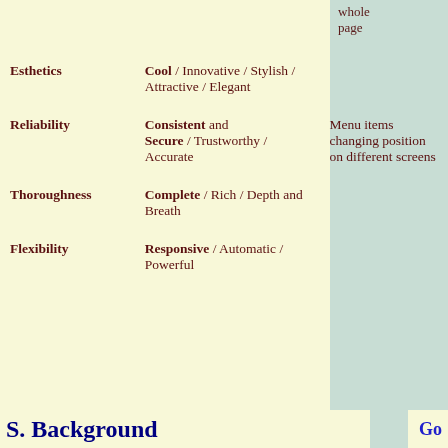whole page
|  | Subcategories | Negative examples |
| --- | --- | --- |
| Esthetics | Cool / Innovative / Stylish / Attractive / Elegant |  |
| Reliability | Consistent and Secure / Trustworthy / Accurate | Menu items changing position on different screens |
| Thoroughness | Complete / Rich / Depth and Breath |  |
| Flexibility | Responsive / Automatic / Powerful |  |
S. Background